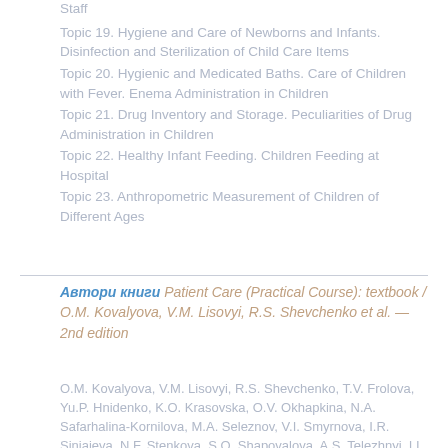Staff
Topic 19. Hygiene and Care of Newborns and Infants. Disinfection and Sterilization of Child Care Items
Topic 20. Hygienic and Medicated Baths. Care of Children with Fever. Enema Administration in Children
Topic 21. Drug Inventory and Storage. Peculiarities of Drug Administration in Children
Topic 22. Healthy Infant Feeding. Children Feeding at Hospital
Topic 23. Anthropometric Measurement of Children of Different Ages
Автори книги Patient Care (Practical Course): textbook / O.M. Kovalyova, V.M. Lisovyi, R.S. Shevchenko et al. — 2nd edition
O.M. Kovalyova, V.M. Lisovyi, R.S. Shevchenko, T.V. Frolova, Yu.P. Hnidenko, K.O. Krasovska, O.V. Okhapkina, N.A. Safarhalina-Kornilova, M.A. Seleznov, V.I. Smyrnova, I.R. Siniaieva, N.F. Stenkova, S.O. Shapovalova, A.S. Telezhnyi, I.I. Tereshchenkova, O.S. Tsyhanenko, S.I. Shevchenko